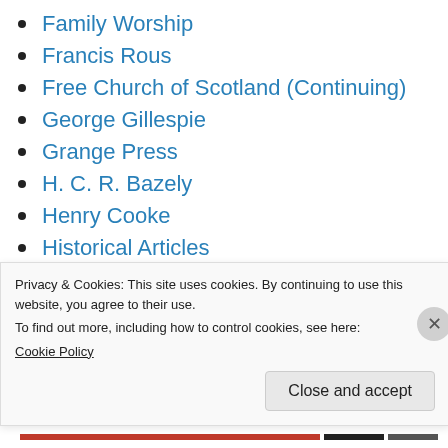Family Worship
Francis Rous
Free Church of Scotland (Continuing)
George Gillespie
Grange Press
H. C. R. Bazely
Henry Cooke
Historical Articles
History Lectures
Ian Wise
J G Vos
Privacy & Cookies: This site uses cookies. By continuing to use this website, you agree to their use.
To find out more, including how to control cookies, see here:
Cookie Policy
Close and accept